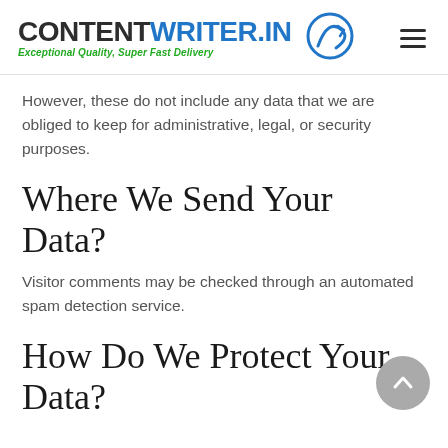CONTENTWRITER.IN — Exceptional Quality, Super Fast Delivery
However, these do not include any data that we are obliged to keep for administrative, legal, or security purposes.
Where We Send Your Data?
Visitor comments may be checked through an automated spam detection service.
How Do We Protect Your Data?